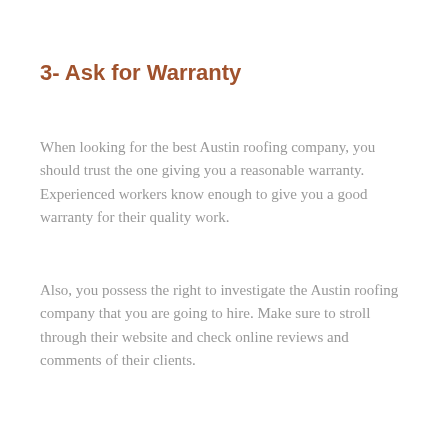3- Ask for Warranty
When looking for the best Austin roofing company, you should trust the one giving you a reasonable warranty. Experienced workers know enough to give you a good warranty for their quality work.
Also, you possess the right to investigate the Austin roofing company that you are going to hire. Make sure to stroll through their website and check online reviews and comments of their clients.